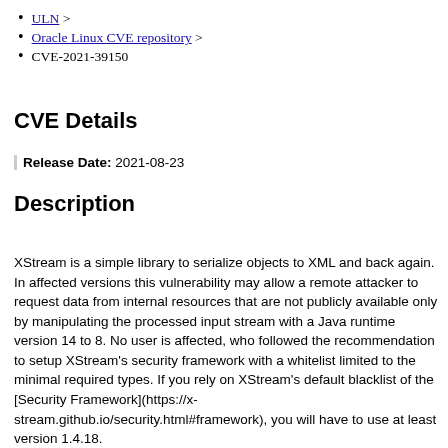ULN >
Oracle Linux CVE repository >
CVE-2021-39150
CVE Details
Release Date: 2021-08-23
Description
XStream is a simple library to serialize objects to XML and back again. In affected versions this vulnerability may allow a remote attacker to request data from internal resources that are not publicly available only by manipulating the processed input stream with a Java runtime version 14 to 8. No user is affected, who followed the recommendation to setup XStream's security framework with a whitelist limited to the minimal required types. If you rely on XStream's default blacklist of the [Security Framework](https://x-stream.github.io/security.html#framework), you will have to use at least version 1.4.18.